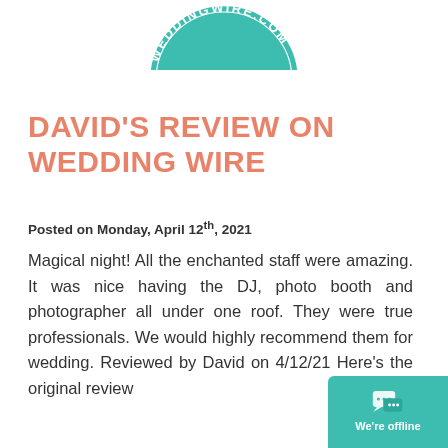[Figure (logo): WeddingWire.com circular badge/seal logo in teal color at top of page]
DAVID'S REVIEW ON WEDDING WIRE
Posted on Monday, April 12th, 2021
Magical night! All the enchanted staff were amazing. It was nice having the DJ, photo booth and photographer all under one roof. They were true professionals. We would highly recommend them for wedding. Reviewed by David on 4/12/21 Here's the original review